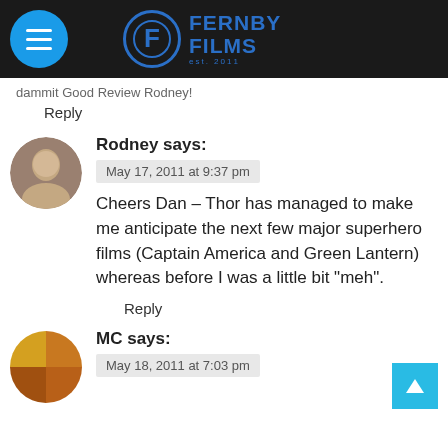Fernby Films
dammit Good Review Rodney!
Reply
Rodney says:
May 17, 2011 at 9:37 pm
Cheers Dan – Thor has managed to make me anticipate the next few major superhero films (Captain America and Green Lantern) whereas before I was a little bit "meh".
Reply
MC says:
May 18, 2011 at 7:03 pm